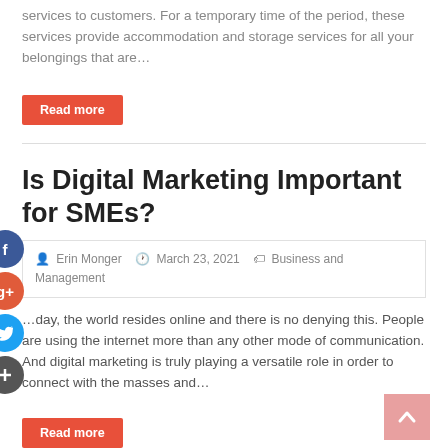services to customers. For a temporary time of the period, these services provide accommodation and storage services for all your belongings that are…
Read more
Is Digital Marketing Important for SMEs?
Erin Monger   March 23, 2021   Business and Management
…day, the world resides online and there is no denying this. People are using the internet more than any other mode of communication. And digital marketing is truly playing a versatile role in order to connect with the masses and…
Read more